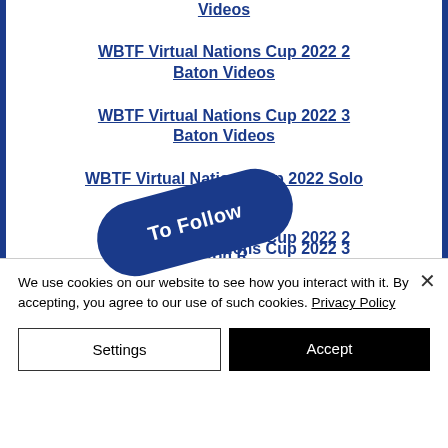Videos
WBTF Virtual Nations Cup 2022 2 Baton Videos
WBTF Virtual Nations Cup 2022 3 Baton Videos
WBTF Virtual Nations Cup 2022 Solo Results
WBTF Virtual Nations Cup 2022 2 Baton R...
[Figure (other): Dark blue pill-shaped stamp overlay with text 'To Follow' written in white]
WBTF Virtual Nations Cup 2022 3 Baton R...
We use cookies on our website to see how you interact with it. By accepting, you agree to our use of such cookies. Privacy Policy
Settings
Accept